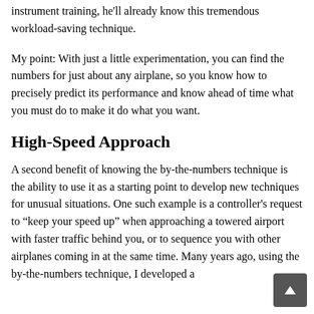instrument training, he'll already know this tremendous workload-saving technique.
My point: With just a little experimentation, you can find the numbers for just about any airplane, so you know how to precisely predict its performance and know ahead of time what you must do to make it do what you want.
High-Speed Approach
A second benefit of knowing the by-the-numbers technique is the ability to use it as a starting point to develop new techniques for unusual situations. One such example is a controller's request to “keep your speed up” when approaching a towered airport with faster traffic behind you, or to sequence you with other airplanes coming in at the same time. Many years ago, using the by-the-numbers technique, I developed a